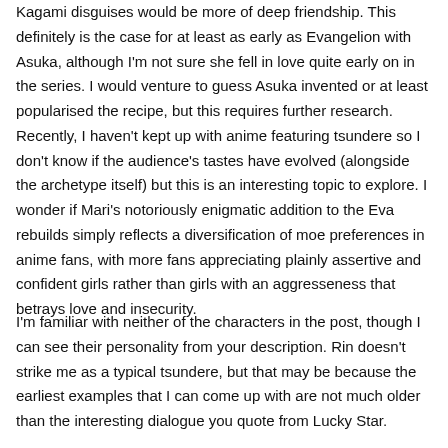Kagami disguises would be more of deep friendship. This definitely is the case for at least as early as Evangelion with Asuka, although I'm not sure she fell in love quite early on in the series. I would venture to guess Asuka invented or at least popularised the recipe, but this requires further research. Recently, I haven't kept up with anime featuring tsundere so I don't know if the audience's tastes have evolved (alongside the archetype itself) but this is an interesting topic to explore. I wonder if Mari's notoriously enigmatic addition to the Eva rebuilds simply reflects a diversification of moe preferences in anime fans, with more fans appreciating plainly assertive and confident girls rather than girls with an aggresseness that betrays love and insecurity.
I'm familiar with neither of the characters in the post, though I can see their personality from your description. Rin doesn't strike me as a typical tsundere, but that may be because the earliest examples that I can come up with are not much older than the interesting dialogue you quote from Lucky Star.